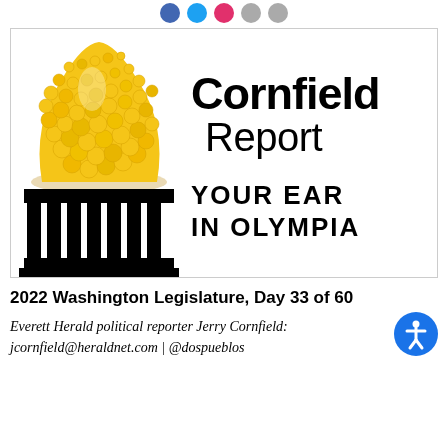[Social media icon buttons row]
[Figure (logo): Cornfield Report logo: a pile of yellow corn kernels sitting atop a black capitol building colonnade graphic, with text 'Cornfield Report' and 'YOUR EAR IN OLYMPIA']
2022 Washington Legislature, Day 33 of 60
Everett Herald political reporter Jerry Cornfield: jcornfield@heraldnet.com | @dospueblos